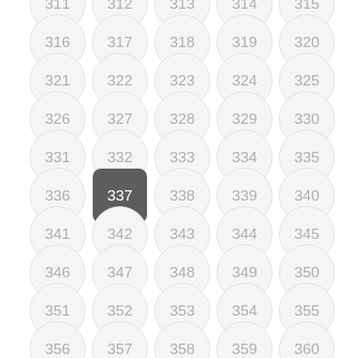[Figure (other): Grid of numbered circular buttons from 311 to 365+, with button 337 highlighted as a dark rounded square (selected state). Arranged in 5 columns and multiple rows.]